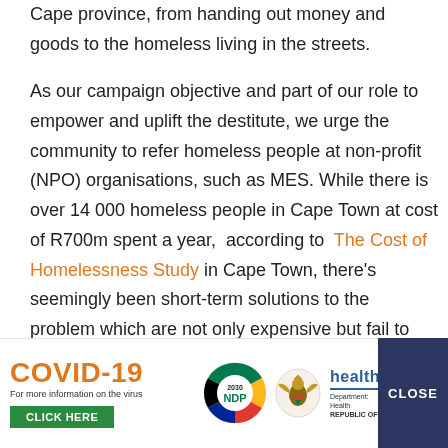Cape province, from handing out money and goods to the homeless living in the streets.
As our campaign objective and part of our role to empower and uplift the destitute, we urge the community to refer homeless people at non-profit (NPO) organisations, such as MES. While there is over 14 000 homeless people in Cape Town at cost of R700m spent a year,  according to  The Cost of Homelessness Study in Cape Town, there's seemingly been short-term solutions to the problem which are not only expensive but fail to help people get off the
[Figure (infographic): COVID-19 information banner with NDP 2030 logo, Department of Health logo (Republic of South Africa), and a CLOSE button on the right. Text reads: COVID-19 For more information on the virus CLICK HERE. Health Department: Health REPUBLIC OF SOUTH AFRICA.]